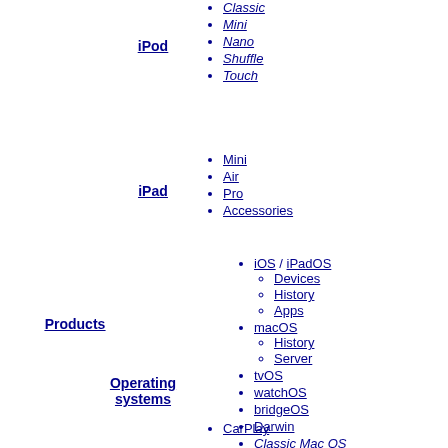iPod
Classic
Mini
Nano
Shuffle
Touch
iPad
Mini
Air
Pro
Accessories
Products
Operating systems
iOS / iPadOS
Devices
History
Apps
macOS
History
Server
tvOS
watchOS
bridgeOS
Darwin
Classic Mac OS
CarPlay